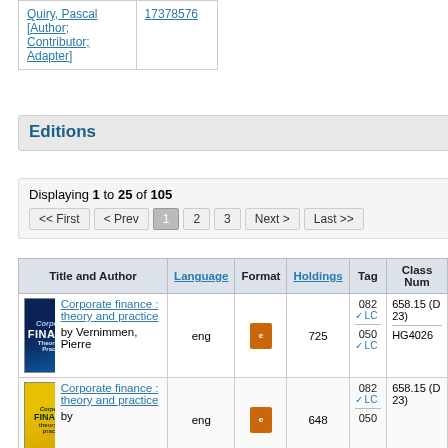|  |  |
| --- | --- |
| Quiry, Pascal [Author; Contributor; Adapter] | 17378576 |
Editions
Displaying 1 to 25 of 105
| Title and Author | Language | Format | Holdings | Tag | Class Num |
| --- | --- | --- | --- | --- | --- |
| Corporate finance : theory and practice by Vernimmen, Pierre | eng | [ebook icon] | 725 | 082 ✓LC
050 ✓LC | 658.15 (D 23)
HG4026 |
| Corporate finance : theory and practice by | eng | [ebook icon] | 648 | 082 ✓LC
050 | 658.15 (D 23) |